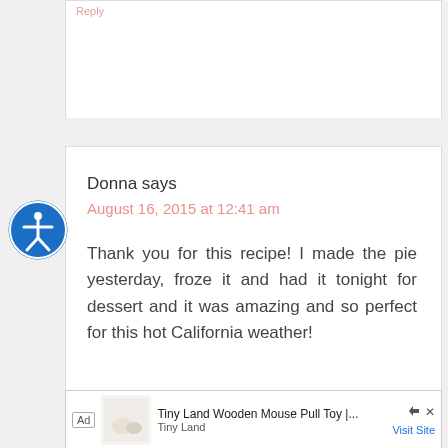[Figure (screenshot): Top portion of a previous comment card, partially visible, showing a pink link text near the top.]
Donna says
August 16, 2015 at 12:41 am
Thank you for this recipe! I made the pie yesterday, froze it and had it tonight for dessert and it was amazing and so perfect for this hot California weather!
[Figure (screenshot): Ad banner: Tiny Land Wooden Mouse Pull Toy | ... - Tiny Land - Visit Site]